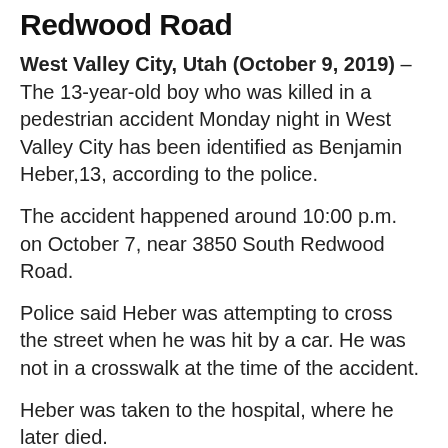Redwood Road
West Valley City, Utah (October 9, 2019) – The 13-year-old boy who was killed in a pedestrian accident Monday night in West Valley City has been identified as Benjamin Heber,13, according to the police.
The accident happened around 10:00 p.m. on October 7, near 3850 South Redwood Road.
Police said Heber was attempting to cross the street when he was hit by a car. He was not in a crosswalk at the time of the accident.
Heber was taken to the hospital, where he later died.